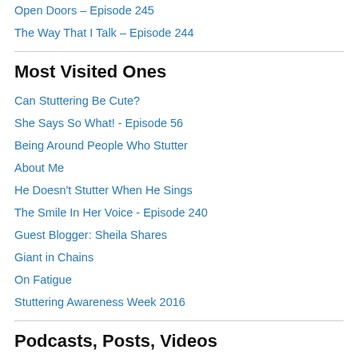Open Doors – Episode 245
The Way That I Talk – Episode 244
Most Visited Ones
Can Stuttering Be Cute?
She Says So What! - Episode 56
Being Around People Who Stutter
About Me
He Doesn't Stutter When He Sings
The Smile In Her Voice - Episode 240
Guest Blogger: Sheila Shares
Giant in Chains
On Fatigue
Stuttering Awareness Week 2016
Podcasts, Posts, Videos